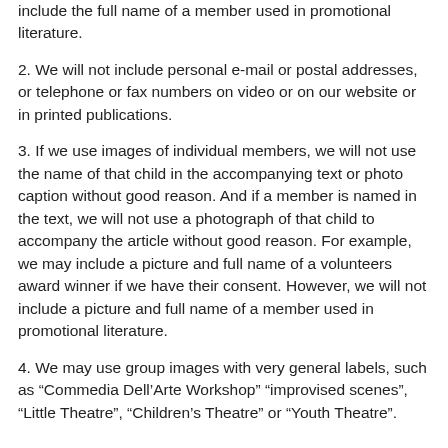include the full name of a member used in promotional literature.
2. We will not include personal e-mail or postal addresses, or telephone or fax numbers on video or on our website or in printed publications.
3. If we use images of individual members, we will not use the name of that child in the accompanying text or photo caption without good reason. And if a member is named in the text, we will not use a photograph of that child to accompany the article without good reason. For example, we may include a picture and full name of a volunteers award winner if we have their consent. However, we will not include a picture and full name of a member used in promotional literature.
4. We may use group images with very general labels, such as “Commedia Dell’Arte Workshop” “improvised scenes”, “Little Theatre”, “Children’s Theatre” or “Youth Theatre”.